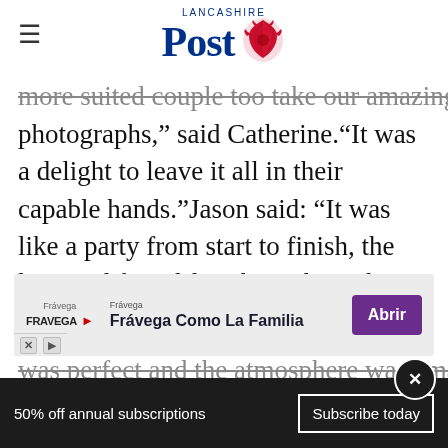Lancashire Post
more suited couple too take our amazing photographs," said Catherine.“It was a delight to leave it all in their capable hands.”Jason said: “It was like a party from start to finish, the love and friendship throughout the whole day was unbelievable, the day was perfect, all the staff and suppliers made it more successful than we could have imagined.Catherine added: “The day was perfect and the atmosphere was amazing.”
[Figure (screenshot): Advertisement banner for Frávega Como La Familia with purple Abrir button]
50% off annual subscriptions
Subscribe today